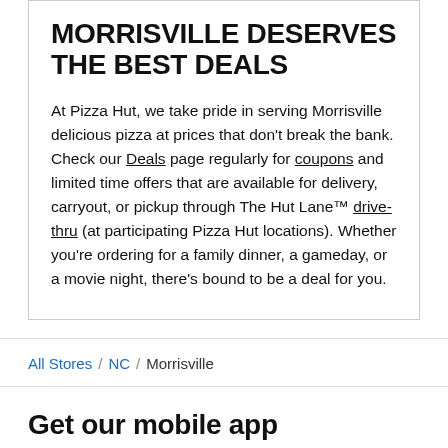MORRISVILLE DESERVES THE BEST DEALS
At Pizza Hut, we take pride in serving Morrisville delicious pizza at prices that don't break the bank. Check our Deals page regularly for coupons and limited time offers that are available for delivery, carryout, or pickup through The Hut Lane™ drive-thru (at participating Pizza Hut locations). Whether you're ordering for a family dinner, a gameday, or a movie night, there's bound to be a deal for you.
All Stores / NC / Morrisville
Get our mobile app